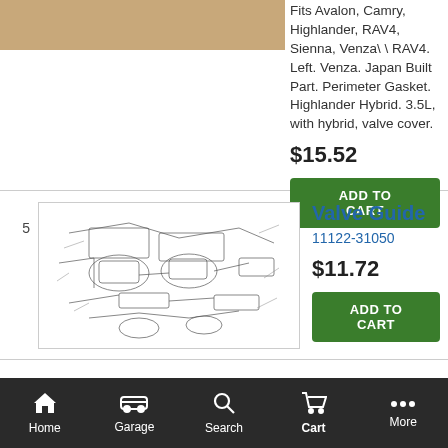[Figure (illustration): Partial product image cropped at top of page, tan/brown colored part diagram]
Fits Avalon, Camry, Highlander, RAV4, Sienna, Venza\ RAV4. Left. Venza. Japan Built Part. Perimeter Gasket. Highlander Hybrid. 3.5L, with hybrid, valve cover.
$15.52
ADD TO CART
5
[Figure (illustration): Exploded parts diagram schematic for Valve Guide 11122-31050]
Valve Guide
11122-31050
$11.72
ADD TO CART
5
[Figure (illustration): Exploded parts diagram schematic for Valve Guide 11126-31030]
Valve Guide
11126-31030
$11.72
Home  Garage  Search  Cart  More